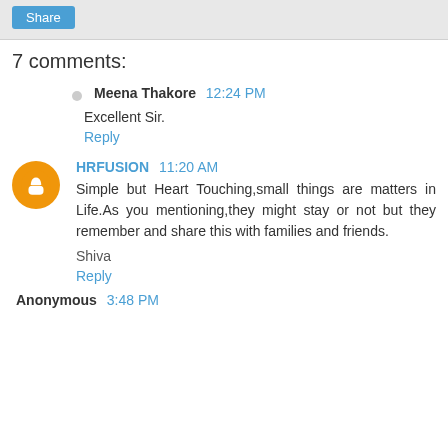7 comments:
Meena Thakore  12:24 PM
Excellent Sir.
Reply
HRFUSION  11:20 AM
Simple but Heart Touching,small things are matters in Life.As you mentioning,they might stay or not but they remember and share this with families and friends.
Shiva
Reply
Anonymous  3:48 PM